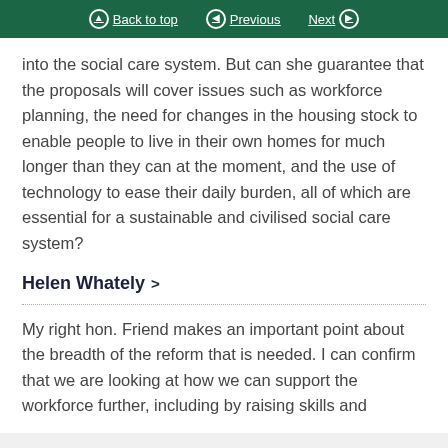Back to top | Previous | Next
into the social care system. But can she guarantee that the proposals will cover issues such as workforce planning, the need for changes in the housing stock to enable people to live in their own homes for much longer than they can at the moment, and the use of technology to ease their daily burden, all of which are essential for a sustainable and civilised social care system?
Helen Whately
My right hon. Friend makes an important point about the breadth of the reform that is needed. I can confirm that we are looking at how we can support the workforce further, including by raising skills and